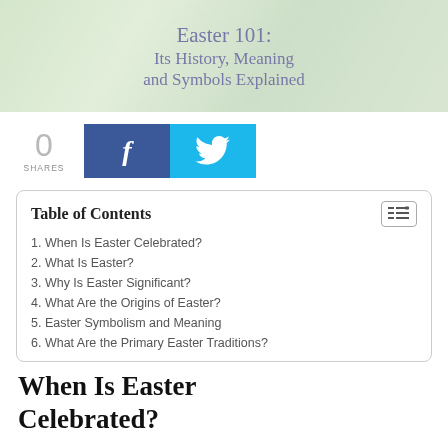[Figure (illustration): Header image with textured green/grey background and title text 'Easter 101: Its History, Meaning and Symbols Explained' in purple/slate color]
Easter 101: Its History, Meaning and Symbols Explained
[Figure (infographic): Social share buttons row: '0 SHARES' counter on left, then blue Facebook button with 'f' icon, then cyan Twitter button with bird icon]
| 1. When Is Easter Celebrated? |
| 2. What Is Easter? |
| 3. Why Is Easter Significant? |
| 4. What Are the Origins of Easter? |
| 5. Easter Symbolism and Meaning |
| 6. What Are the Primary Easter Traditions? |
When Is Easter Celebrated?